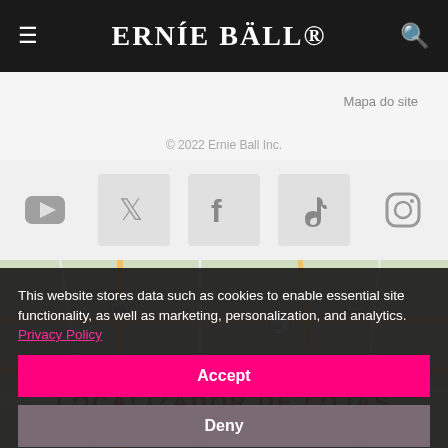≡ ERNIE BALL® 🔍
Mapa do site
© 2022 Ernie Ball Inc.
[Figure (screenshot): Social media icons row: YouTube, Twitter, Facebook, TikTok, Instagram]
[Figure (map): Google Maps partial view with road network]
LOCALIZADOR DE LOJAS
This website stores data such as cookies to enable essential site functionality, as well as marketing, personalization, and analytics. Privacy Policy
Accept
Deny